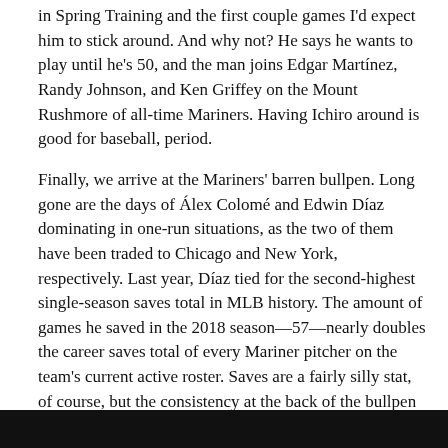in Spring Training and the first couple games I'd expect him to stick around. And why not? He says he wants to play until he's 50, and the man joins Edgar Martínez, Randy Johnson, and Ken Griffey on the Mount Rushmore of all-time Mariners. Having Ichiro around is good for baseball, period.
Finally, we arrive at the Mariners' barren bullpen. Long gone are the days of Álex Colomé and Edwin Díaz dominating in one-run situations, as the two of them have been traded to Chicago and New York, respectively. Last year, Díaz tied for the second-highest single-season saves total in MLB history. The amount of games he saved in the 2018 season—57—nearly doubles the career saves total of every Mariner pitcher on the team's current active roster. Saves are a fairly silly stat, of course, but the consistency at the back of the bullpen last year was a huge part of why they could win 89 games with a negative differential. Now that Díaz, Colomé, and dependable lefty James Pazos are all gone, the best high-leverage reliever on the team may well be a man more focused on punching out Bryce Harper than he is striking out Bryce Harper.
[Figure (other): Black bar at the bottom of the page]